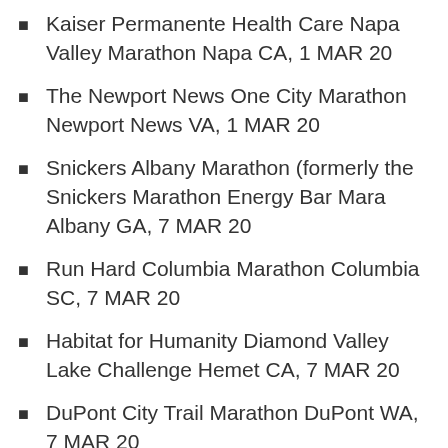Kaiser Permanente Health Care Napa Valley Marathon Napa CA, 1 MAR 20
The Newport News One City Marathon Newport News VA, 1 MAR 20
Snickers Albany Marathon (formerly the Snickers Marathon Energy Bar Mara Albany GA, 7 MAR 20
Run Hard Columbia Marathon Columbia SC, 7 MAR 20
Habitat for Humanity Diamond Valley Lake Challenge Hemet CA, 7 MAR 20
DuPont City Trail Marathon DuPont WA, 7 MAR 20
Greenway Trail Marathon Gaithersburg MD, 7 MAR 20